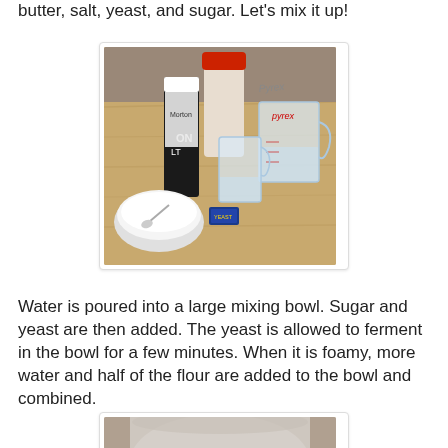butter, salt, yeast, and sugar.  Let's mix it up!
[Figure (photo): Baking ingredients on a wooden countertop including a salt container, flour or sugar container with red lid, Pyrex measuring cups with water, a small bowl with white powder and spoon, and a yeast packet.]
Water is poured into a large mixing bowl.  Sugar and yeast are then added.  The yeast is allowed to ferment in the bowl for a few minutes. When it is foamy, more water and half of the flour are added to the bowl and combined.
[Figure (photo): Partial view of a mixing bowl with ingredients, bottom portion visible.]